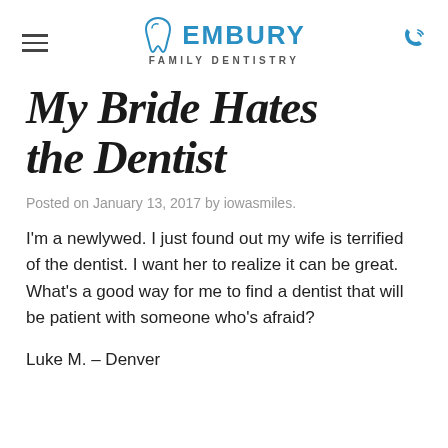EMBURY FAMILY DENTISTRY
My Bride Hates the Dentist
Posted on January 13, 2017 by iowasmiles.
I'm a newlywed. I just found out my wife is terrified of the dentist. I want her to realize it can be great.  What's a good way for me to find a dentist that will be patient with someone who's afraid?
Luke M. – Denver